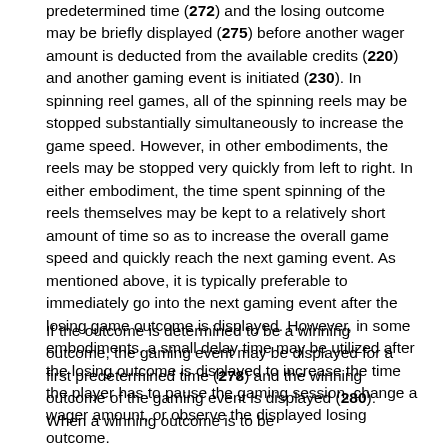predetermined time (272) and the losing outcome may be briefly displayed (275) before another wager amount is deducted from the available credits (220) and another gaming event is initiated (230). In spinning reel games, all of the spinning reels may be stopped substantially simultaneously to increase the game speed. However, in other embodiments, the reels may be stopped very quickly from left to right. In either embodiment, the time spent spinning of the reels themselves may be kept to a relatively short amount of time so as to increase the overall game speed and quickly reach the next gaming event. As mentioned above, it is typically preferable to immediately go into the next gaming event after the losing game outcome is displayed. However, in some embodiments, a small delay time may be utilized after the losing outcome is displayed to increase the time the player has to pause the gaming session, change a wager amount, or observe the displayed losing outcome.
If the outcome is determined to be a winning outcome, the gaming event may be displayed for a first predetermined time (278) and the winning outcome of the gaming event is displayed (280). When a winning outcome is to be